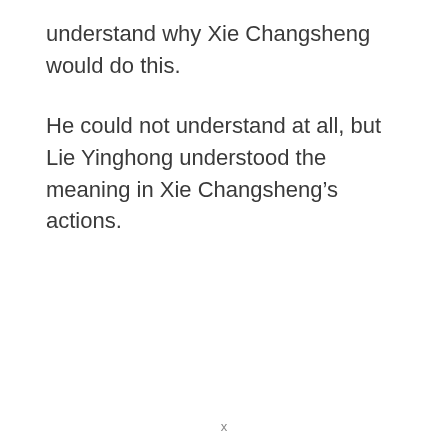understand why Xie Changsheng would do this.
He could not understand at all, but Lie Yinghong understood the meaning in Xie Changsheng’s actions.
x